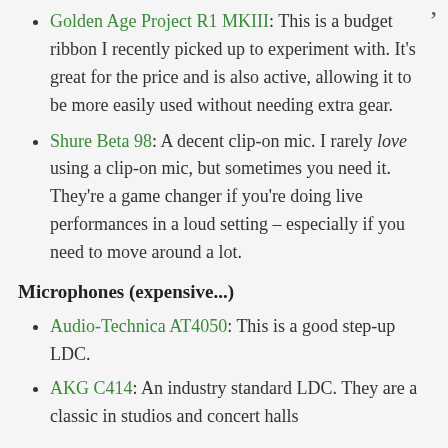Golden Age Project R1 MKIII: This is a budget ribbon I recently picked up to experiment with. It's great for the price and is also active, allowing it to be more easily used without needing extra gear.
Shure Beta 98: A decent clip-on mic. I rarely love using a clip-on mic, but sometimes you need it. They're a game changer if you're doing live performances in a loud setting – especially if you need to move around a lot.
Microphones (expensive...)
Audio-Technica AT4050: This is a good step-up LDC.
AKG C414: An industry standard LDC. They are a classic in studios and concert halls